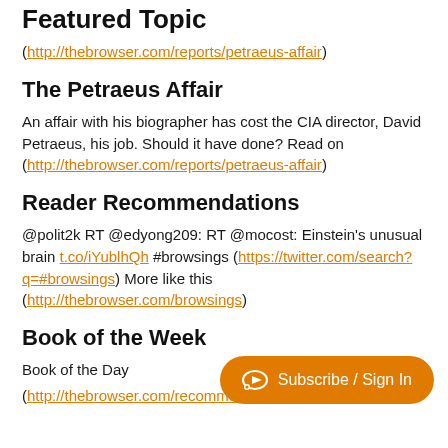Featured Topic
(http://thebrowser.com/reports/petraeus-affair)
The Petraeus Affair
An affair with his biographer has cost the CIA director, David Petraeus, his job. Should it have done? Read on (http://thebrowser.com/reports/petraeus-affair)
Reader Recommendations
@polit2k RT @edyong209: RT @mocost: Einstein's unusual brain t.co/iYublhQh #browsings (https://twitter.com/search?q=#browsings) More like this (http://thebrowser.com/browsings)
Book of the Week
Book of the Day
(http://thebrowser.com/recommended/seven-pillars-